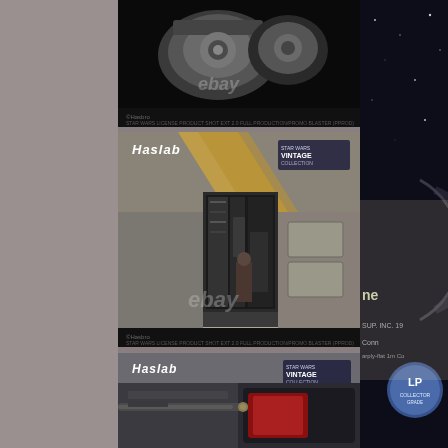[Figure (photo): Top eBay product photo: close-up of Haslab Star Wars Vintage Collection spaceship cockpit/mechanical detail on black background with eBay watermark]
[Figure (photo): Middle eBay product photo: Haslab Star Wars Vintage Collection large vehicle/ship with open cargo bay door showing interior detail; Haslab and Vintage Collection logos visible; eBay watermark]
[Figure (photo): Bottom eBay product photo: Haslab Star Wars Vintage Collection vehicle cockpit/nose detail with cannon and red seat visible; Haslab and Vintage Collection logos]
[Figure (photo): Right panel: dark space background with partial circular logo/sticker visible and partial text including 'ne', 'SUP. INC. 19', 'Conn', and other partial text on what appears to be vintage packaging]